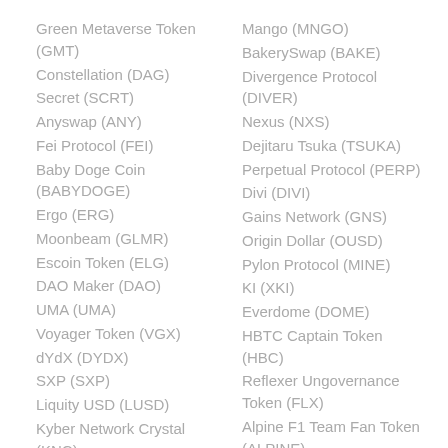Green Metaverse Token (GMT)
Constellation (DAG)
Secret (SCRT)
Anyswap (ANY)
Fei Protocol (FEI)
Baby Doge Coin (BABYDOGE)
Ergo (ERG)
Moonbeam (GLMR)
Escoin Token (ELG)
DAO Maker (DAO)
UMA (UMA)
Voyager Token (VGX)
dYdX (DYDX)
SXP (SXP)
Liquity USD (LUSD)
Kyber Network Crystal (KNC)
Mango (MNGO)
BakerySwap (BAKE)
Divergence Protocol (DIVER)
Nexus (NXS)
Dejitaru Tsuka (TSUKA)
Perpetual Protocol (PERP)
Divi (DIVI)
Gains Network (GNS)
Origin Dollar (OUSD)
Pylon Protocol (MINE)
KI (XKI)
Everdome (DOME)
HBTC Captain Token (HBC)
Reflexer Ungovernance Token (FLX)
Alpine F1 Team Fan Token (ALPINE)